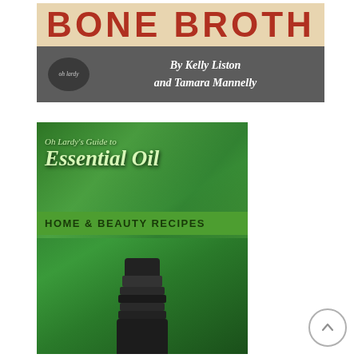[Figure (photo): Book cover for 'Bone Broth' by Kelly Liston and Tamara Mannelly, published by Oh Lardy. Top section shows 'BONE BROTH' in large red uppercase block letters on a light background. Bottom gray section shows 'oh lardy' badge on left and author names 'By Kelly Liston and Tamara Mannelly' in italic white text on right.]
[Figure (photo): Book cover for 'Oh Lardy's Guide to Essential Oil Home & Beauty Recipes'. Green bokeh background with leaves, italic script text reading 'Oh Lardy's Guide to Essential Oil' and bold green banner reading 'HOME & BEAUTY RECIPES'. Bottom portion shows dark glass bottle cap/opener.]